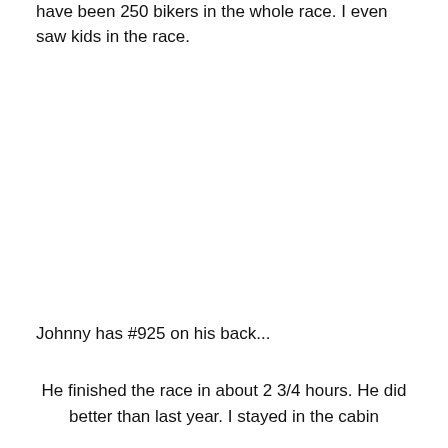have been 250 bikers in the whole race. I even saw kids in the race.
Johnny has #925 on his back...
He finished the race in about 2 3/4 hours. He did better than last year. I stayed in the cabin